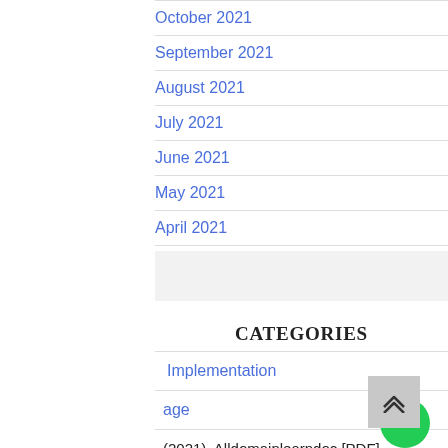October 2021
September 2021
August 2021
July 2021
June 2021
May 2021
April 2021
CATEGORIES
Implementation
age
(2021). Alldomainlearndoc [PDF]